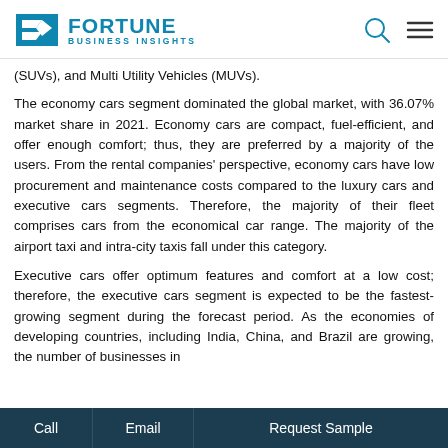Fortune Business Insights logo with search and menu icons
(SUVs), and Multi Utility Vehicles (MUVs).
The economy cars segment dominated the global market, with 36.07% market share in 2021. Economy cars are compact, fuel-efficient, and offer enough comfort; thus, they are preferred by a majority of the users. From the rental companies' perspective, economy cars have low procurement and maintenance costs compared to the luxury cars and executive cars segments. Therefore, the majority of their fleet comprises cars from the economical car range. The majority of the airport taxi and intra-city taxis fall under this category.
Executive cars offer optimum features and comfort at a low cost; therefore, the executive cars segment is expected to be the fastest-growing segment during the forecast period. As the economies of developing countries, including India, China, and Brazil are growing, the number of businesses in
Call | Email | Request Sample